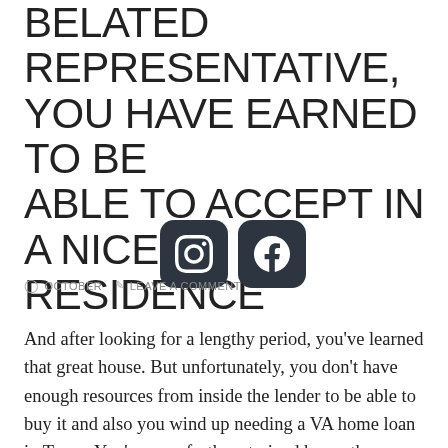BELATED REPRESENTATIVE, YOU HAVE EARNED TO BE ABLE TO ACCEPT IN A NICE RESIDENCE
OCTOBER   LEAVE A COMMENT
And after looking for a lengthy period, you've learned that great house. But unfortunately, you don't have enough resources from inside the lender to be able to buy it and also you wind up needing a VA home loan in Texas. You're even further strained by on the lookout for qualified candidates, where there are numerous VA mortgage loan providers in Colorado that are willing to cause you to an appealing give. But while this type of grants come tempting to just accept, it's essential that you're aware not all the loan companies in Tx offer the exact same set of terms. So if you're sick and tired of